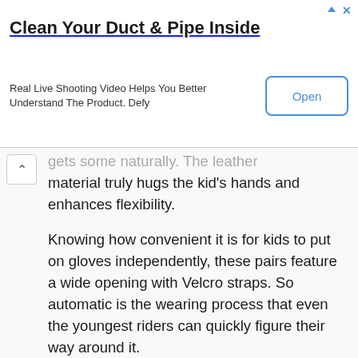[Figure (screenshot): Advertisement banner for 'Clean Your Duct & Pipe Inside' with an Open button on the right and ad icons top right]
gets some naturally. The leather material truly hugs the kid's hands and enhances flexibility.
Knowing how convenient it is for kids to put on gloves independently, these pairs feature a wide opening with Velcro straps. So automatic is the wearing process that even the youngest riders can quickly figure their way around it.
To top it all off, the gloves are moisture-wicking thanks to a heavily breathable